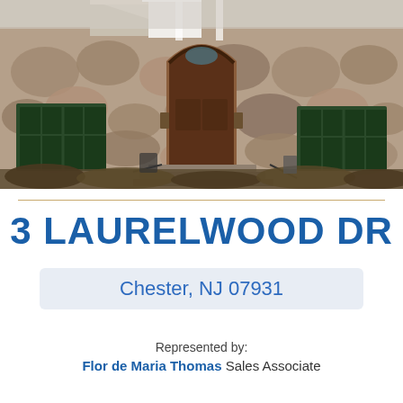[Figure (photo): Exterior photo of a large stone house with arched front door, green-framed windows, and stone facade, taken in winter with bare shrubs in the foreground]
3 LAURELWOOD DR
Chester, NJ 07931
Represented by:
Flor de Maria Thomas Sales Associate